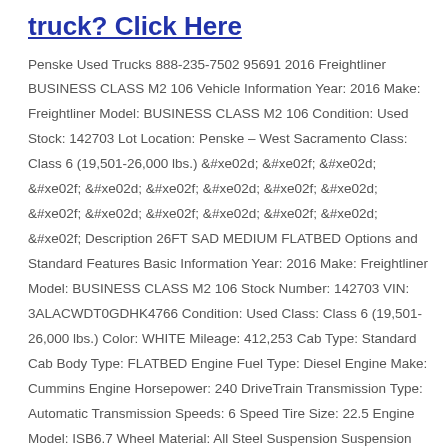truck? Click Here
Penske Used Trucks 888-235-7502 95691 2016 Freightliner BUSINESS CLASS M2 106 Vehicle Information Year: 2016 Make: Freightliner Model: BUSINESS CLASS M2 106 Condition: Used Stock: 142703 Lot Location: Penske – West Sacramento Class: Class 6 (19,501-26,000 lbs.) &#xe02d; &#xe02f; &#xe02d; &#xe02f; &#xe02d; &#xe02f; &#xe02d; &#xe02f; &#xe02d; &#xe02f; &#xe02d; &#xe02f; &#xe02d; &#xe02f; &#xe02d; &#xe02f; Description 26FT SAD MEDIUM FLATBED Options and Standard Features Basic Information Year: 2016 Make: Freightliner Model: BUSINESS CLASS M2 106 Stock Number: 142703 VIN: 3ALACWDT0GDHK4766 Condition: Used Class: Class 6 (19,501-26,000 lbs.) Color: WHITE Mileage: 412,253 Cab Type: Standard Cab Body Type: FLATBED Engine Fuel Type: Diesel Engine Make: Cummins Engine Horsepower: 240 DriveTrain Transmission Type: Automatic Transmission Speeds: 6 Speed Tire Size: 22.5 Engine Model: ISB6.7 Wheel Material: All Steel Suspension Suspension Type: Air Rear Axles: 1